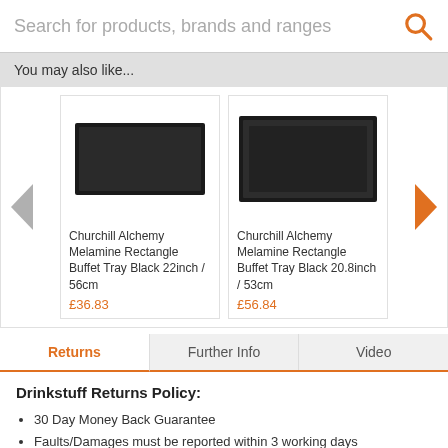Search for products, brands and ranges
You may also like...
[Figure (photo): Churchill Alchemy Melamine Rectangle Buffet Tray Black 22inch / 56cm product image]
Churchill Alchemy Melamine Rectangle Buffet Tray Black 22inch / 56cm
£36.83
[Figure (photo): Churchill Alchemy Melamine Rectangle Buffet Tray Black 20.8inch / 53cm product image]
Churchill Alchemy Melamine Rectangle Buffet Tray Black 20.8inch / 53cm
£56.84
Returns | Further Info | Video
Drinkstuff Returns Policy:
30 Day Money Back Guarantee
Faults/Damages must be reported within 3 working days